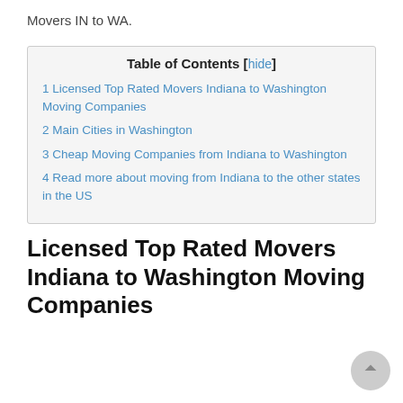Movers IN to WA.
| Table of Contents |
| --- |
| 1 Licensed Top Rated Movers Indiana to Washington Moving Companies |
| 2 Main Cities in Washington |
| 3 Cheap Moving Companies from Indiana to Washington |
| 4 Read more about moving from Indiana to the other states in the US |
Licensed Top Rated Movers Indiana to Washington Moving Companies